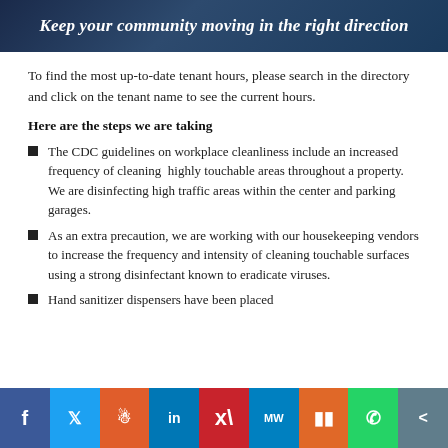[Figure (illustration): Dark navy banner with italic bold white text: 'Keep your community moving in the right direction']
To find the most up-to-date tenant hours, please search in the directory and click on the tenant name to see the current hours.
Here are the steps we are taking
The CDC guidelines on workplace cleanliness include an increased frequency of cleaning  highly touchable areas throughout a property. We are disinfecting high traffic areas within the center and parking garages.
As an extra precaution, we are working with our housekeeping vendors to increase the frequency and intensity of cleaning touchable surfaces using a strong disinfectant known to eradicate viruses.
Hand sanitizer dispensers have been placed
[Figure (infographic): Social media sharing bar with buttons for Facebook, Twitter, Reddit, LinkedIn, Pinterest, MeWe, Mix, WhatsApp, Share]